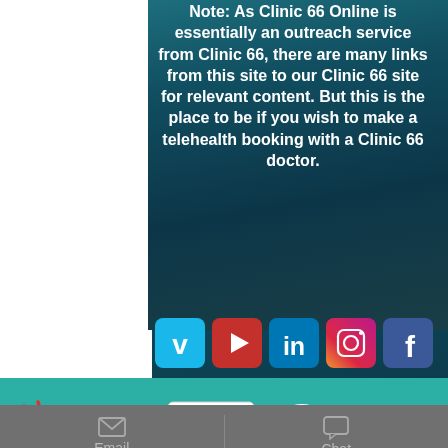Note: As Clinic 66 Online is essentially an outreach service from Clinic 66, there are many links from this site to our Clinic 66 site for relevant content. But this is the place to be if you wish to make a telehealth booking with a Clinic 66 doctor.
[Figure (infographic): Social media icons row: Vimeo (blue), YouTube (red), LinkedIn (blue), Instagram (gradient), Facebook (blue)]
[Figure (logo): GPA Accreditation Plus logo, ISQua Accreditation Organization logo, and a third partially visible logo with scroll-to-top button]
Email  Chat